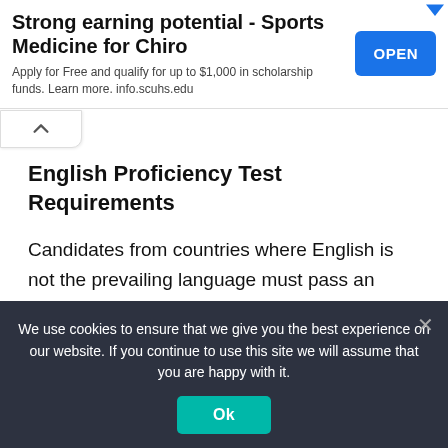[Figure (screenshot): Advertisement banner for Sports Medicine for Chiro program with OPEN button]
English Proficiency Test Requirements
Candidates from countries where English is not the prevailing language must pass an English Proficiency exam in order to apply to institutions in
We use cookies to ensure that we give you the best experience on our website. If you continue to use this site we will assume that you are happy with it.